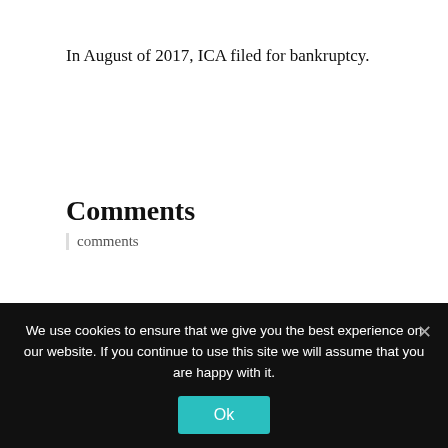In August of 2017, ICA filed for bankruptcy.
Comments
comments
We use cookies to ensure that we give you the best experience on our website. If you continue to use this site we will assume that you are happy with it.